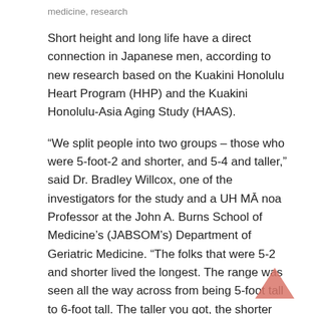medicine, research
Short height and long life have a direct connection in Japanese men, according to new research based on the Kuakini Honolulu Heart Program (HHP) and the Kuakini Honolulu-Asia Aging Study (HAAS).
“We split people into two groups – those who were 5-foot-2 and shorter, and 5-4 and taller,” said Dr. Bradley Willcox, one of the investigators for the study and a UH Mānoa Professor at the John A. Burns School of Medicine’s (JABSOM’s) Department of Geriatric Medicine. “The folks that were 5-2 and shorter lived the longest. The range was seen all the way across from being 5-foot tall to 6-foot tall. The taller you got, the shorter you lived.”
Researchers at the Kuakini Medical Center, JABSOM and U.S. Veterans Affairs worked on the study, which was recently published in PLOS ONE, a peer-reviewed medical